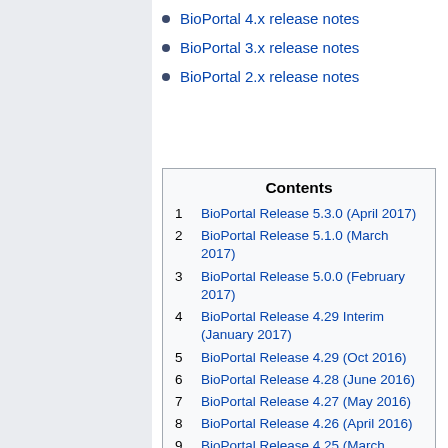BioPortal 4.x release notes
BioPortal 3.x release notes
BioPortal 2.x release notes
| Contents |
| --- |
| 1 | BioPortal Release 5.3.0 (April 2017) |
| 2 | BioPortal Release 5.1.0 (March 2017) |
| 3 | BioPortal Release 5.0.0 (February 2017) |
| 4 | BioPortal Release 4.29 Interim (January 2017) |
| 5 | BioPortal Release 4.29 (Oct 2016) |
| 6 | BioPortal Release 4.28 (June 2016) |
| 7 | BioPortal Release 4.27 (May 2016) |
| 8 | BioPortal Release 4.26 (April 2016) |
| 9 | BioPortal Release 4.25 (March 2016) |
| 10 | BioPortal Release 4.24 (February 2016) |
| 11 | BioPortal Release 4.23 (January |